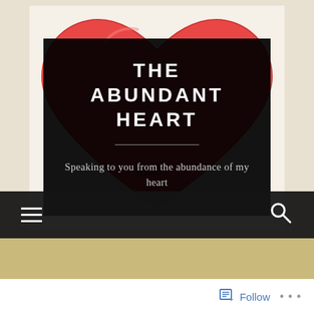[Figure (illustration): Watercolor-style illustration of a large red heart on a light beige/grey background, resembling a Polaroid photo]
THE ABUNDANT HEART
Speaking to you from the abundance of my heart
[Figure (screenshot): Dark navigation bar with hamburger menu icon on left and search (magnifying glass) icon on right]
[Figure (other): Gold/tan colored horizontal bar]
Follow ...